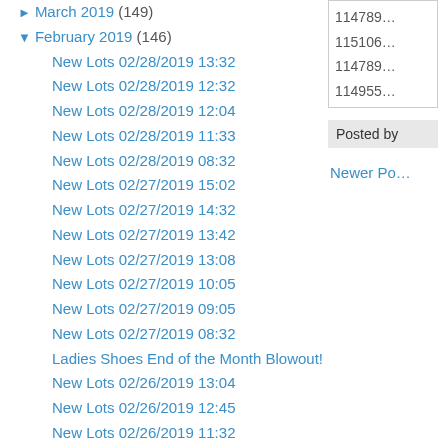► March 2019 (149)
▼ February 2019 (146)
New Lots 02/28/2019 13:32
New Lots 02/28/2019 12:32
New Lots 02/28/2019 12:04
New Lots 02/28/2019 11:33
New Lots 02/28/2019 08:32
New Lots 02/27/2019 15:02
New Lots 02/27/2019 14:32
New Lots 02/27/2019 13:42
New Lots 02/27/2019 13:08
New Lots 02/27/2019 10:05
New Lots 02/27/2019 09:05
New Lots 02/27/2019 08:32
Ladies Shoes End of the Month Blowout!
New Lots 02/26/2019 13:04
New Lots 02/26/2019 12:45
New Lots 02/26/2019 11:32
New Lots 02/26/2019 11:02
114789…
115106…
114789…
114955…
Posted by
Newer Po…